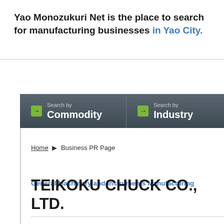Yao Monozukuri Net is the place to search for manufacturing businesses in Yao City.
Home ▶ Business PR Page
General Machinery and Instruments Manufacturing
TEIKOKU CHUCK CO., LTD.